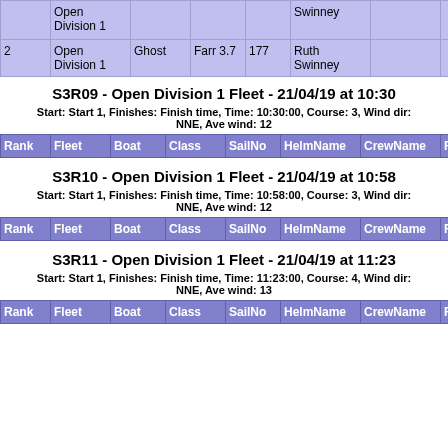| Rank | Fleet | Boat | Class | SailNo | HelmName | CrewName | Rating | Place | Po... |
| --- | --- | --- | --- | --- | --- | --- | --- | --- | --- |
| 2 | Open Division 1 | Ghost | Farr 3.7 | 177 | Ruth Swinney |  |  |  | 0:3... |
S3R09 - Open Division 1 Fleet - 21/04/19 at 10:30
Start: Start 1, Finishes: Finish time, Time: 10:30:00, Course: 3, Wind dir: NNE, Ave wind: 12
| Rank | Fleet | Boat | Class | SailNo | HelmName | CrewName | Rating | Place | Po... |
| --- | --- | --- | --- | --- | --- | --- | --- | --- | --- |
S3R10 - Open Division 1 Fleet - 21/04/19 at 10:58
Start: Start 1, Finishes: Finish time, Time: 10:58:00, Course: 3, Wind dir: NNE, Ave wind: 12
| Rank | Fleet | Boat | Class | SailNo | HelmName | CrewName | Rating | Place | Po... |
| --- | --- | --- | --- | --- | --- | --- | --- | --- | --- |
S3R11 - Open Division 1 Fleet - 21/04/19 at 11:23
Start: Start 1, Finishes: Finish time, Time: 11:23:00, Course: 4, Wind dir: NNE, Ave wind: 13
| Rank | Fleet | Boat | Class | SailNo | HelmName | CrewName | Rating | Place | Po... |
| --- | --- | --- | --- | --- | --- | --- | --- | --- | --- |